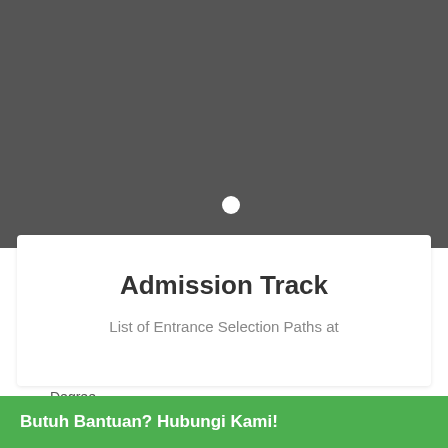[Figure (photo): Dark gray background image area with a white circular dot/indicator in the center-bottom area]
Admission Track
List of Entrance Selection Paths at
Degree
Butuh Bantuan? Hubungi Kami!